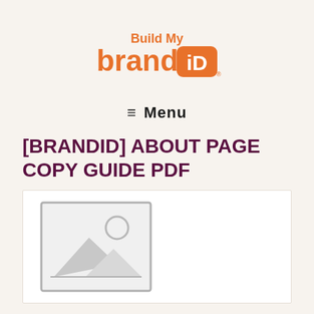[Figure (logo): Build My Brand iD logo — orange text with orange rounded-rectangle badge containing 'iD' in white]
≡  Menu
[BRANDID] ABOUT PAGE COPY GUIDE PDF
[Figure (illustration): Placeholder image icon showing a grey-bordered frame with a mountain/landscape silhouette and sun circle inside]